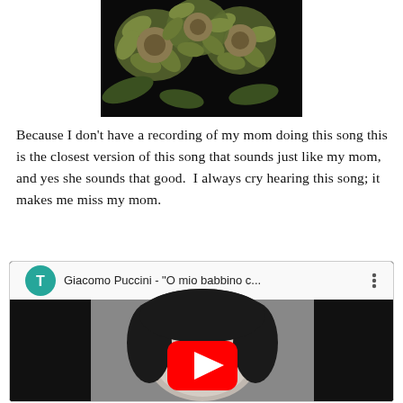[Figure (photo): Photograph of green/yellow chrysanthemum flowers against a dark background, cropped to show tops of flowers]
Because I don't have a recording of my mom doing this song this is the closest version of this song that sounds just like my mom, and yes she sounds that good.  I always cry hearing this song; it makes me miss my mom.
[Figure (screenshot): YouTube video embed showing Giacomo Puccini - 'O mio babbino c...' with a black and white portrait of a woman and a red YouTube play button in the center. A teal circle with letter T and three-dot menu visible at top.]